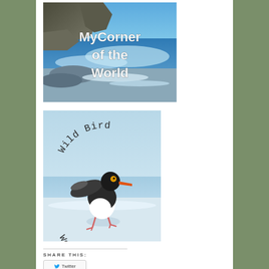[Figure (photo): MyCorner of the World blog logo — coastal ocean scene with rocky cliffs, waves, blue sky, and white bold text reading 'MyCorner of the World']
[Figure (photo): Wild Bird Wednesday blog badge — seabird (oystercatcher) walking on wet beach sand with wings raised, orange beak and pink legs, text arched at top reading 'Wild Bird' and at bottom reading 'Wednesday' in typewriter font]
SHARE THIS:
Twitter